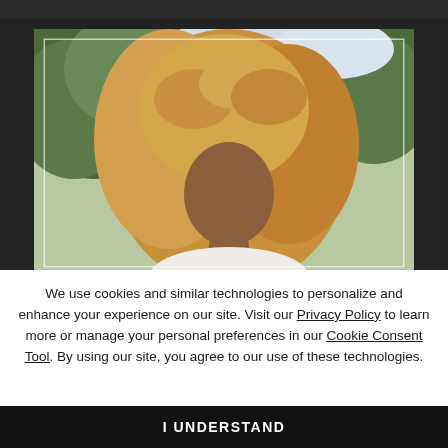[Figure (photo): Portrait photo of a woman with voluminous curly blonde hair wearing a white off-shoulder top, posed outdoors with green trees in background. A thin white rectangular border overlaid on the photo.]
We use cookies and similar technologies to personalize and enhance your experience on our site. Visit our Privacy Policy to learn more or manage your personal preferences in our Cookie Consent Tool. By using our site, you agree to our use of these technologies.
I UNDERSTAND